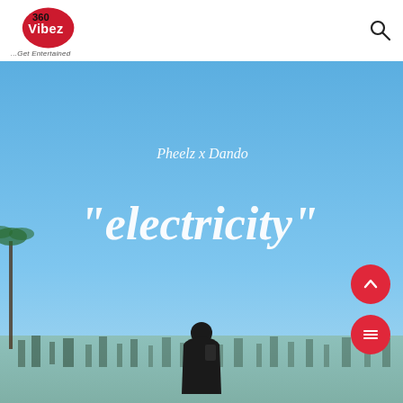[Figure (logo): 360Vibez logo — red circle with '360Vibez' text and tagline '...Get Entertained']
[Figure (photo): Album cover art for 'electricity' by Pheelz x Dando. Blue sky background with white handwritten-style text reading 'Pheelz x Dando' above and '"electricity"' large in the center. A person in a dark hoodie stands at bottom center, city skyline visible below.]